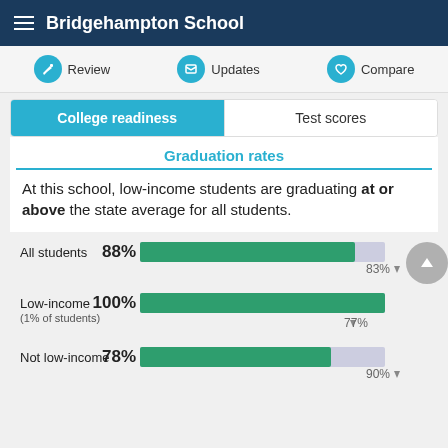Bridgehampton School
Review  Updates  Compare
College readiness | Test scores
Graduation rates
At this school, low-income students are graduating at or above the state average for all students.
[Figure (bar-chart): Graduation Rates]